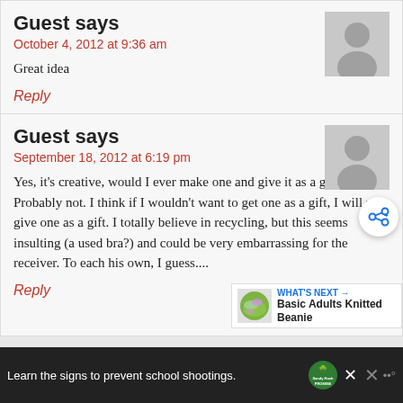Guest says
October 4, 2012 at 9:36 am
Great idea
Reply
Guest says
September 18, 2012 at 6:19 pm
Yes, it's creative, would I ever make one and give it as a gift? Probably not. I think if I wouldn't want to get one as a gift, I will not give one as a gift. I totally believe in recycling, but this seems insulting (a used bra?) and could be very embarrassing for the receiver. To each his own, I guess....
Reply
WHAT'S NEXT → Basic Adults Knitted Beanie
Learn the signs to prevent school shootings.